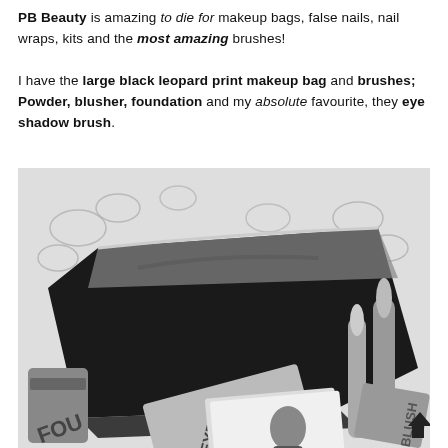PB Beauty is amazing to die for makeup bags, false nails, nail wraps, kits and the most amazing brushes! I have the large black leopard print makeup bag and brushes; Powder, blusher, foundation and my absolute favourite, they eye shadow brush.
[Figure (photo): Black and white photo of a large black makeup bag with a zipper, surrounded by makeup products including brushes, foundation, blusher, and eye products on a floral patterned surface.]